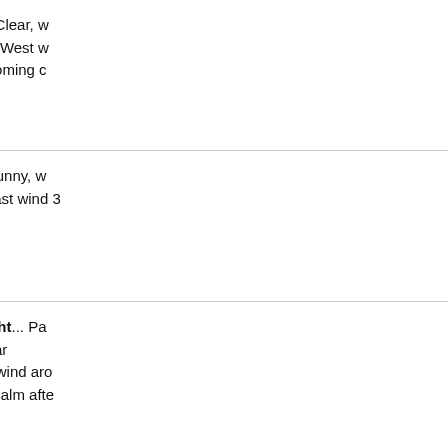[Figure (photo): Full moon against dark night sky]
Tonight... Clear, with a low around 63. West winds around 5 mph becoming calm in the evening.
[Figure (photo): Bright sun shining against light blue sky]
Friday... Sunny, with a high near 85. East wind around ...
[Figure (photo): Dark cloudy night sky]
Friday Night... Partly cloudy, with a low around ... Southeast wind around ... becoming calm after...
[Figure (photo): Partly cloudy sky with sun rays showing through clouds]
Saturday... Partly ...